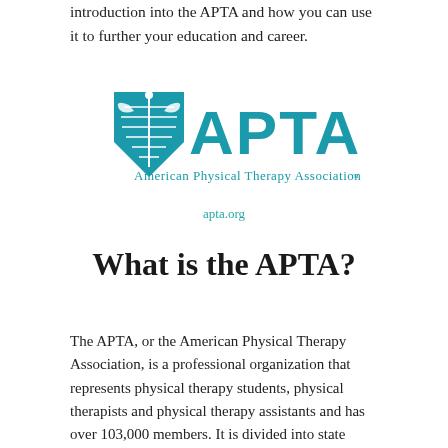introduction into the APTA and how you can use it to further your education and career.
[Figure (logo): APTA logo — American Physical Therapy Association logo with teal caduceus-style emblem and large APTA text]
apta.org
What is the APTA?
The APTA, or the American Physical Therapy Association, is a professional organization that represents physical therapy students, physical therapists and physical therapy assistants and has over 103,000 members. It is divided into state chapters and with a governing board and